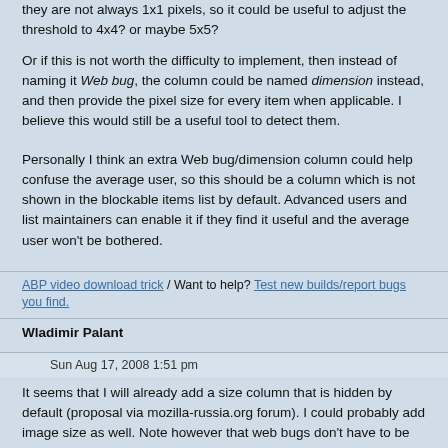they are not always 1x1 pixels, so it could be useful to adjust the threshold to 4x4? or maybe 5x5?
Or if this is not worth the difficulty to implement, then instead of naming it Web bug, the column could be named dimension instead, and then provide the pixel size for every item when applicable. I believe this would still be a useful tool to detect them.
Personally I think an extra Web bug/dimension column could help confuse the average user, so this should be a column which is not shown in the blockable items list by default. Advanced users and list maintainers can enable it if they find it useful and the average user won't be bothered.
ABP video download trick / Want to help? Test new builds/report bugs you find.
Wladimir Palant
Sun Aug 17, 2008 1:51 pm
It seems that I will already add a size column that is hidden by default (proposal via mozilla-russia.org forum). I could probably add image size as well. Note however that web bugs don't have to be images. Scripts are